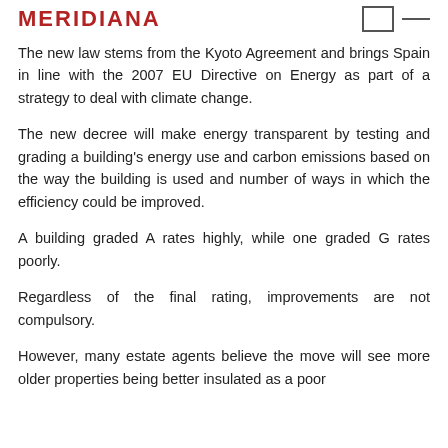MERIDIANA
The new law stems from the Kyoto Agreement and brings Spain in line with the 2007 EU Directive on Energy as part of a strategy to deal with climate change.
The new decree will make energy transparent by testing and grading a building's energy use and carbon emissions based on the way the building is used and number of ways in which the efficiency could be improved.
A building graded A rates highly, while one graded G rates poorly.
Regardless of the final rating, improvements are not compulsory.
However, many estate agents believe the move will see more older properties being better insulated as a poor